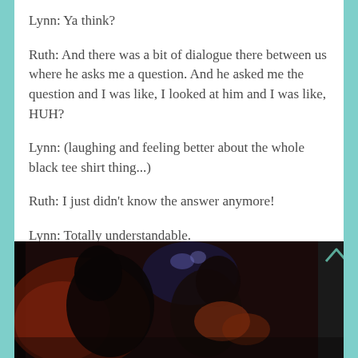Lynn: Ya think?
Ruth: And there was a bit of dialogue there between us where he asks me a question. And he asked me the question and I was like, I looked at him and I was like, HUH?
Lynn: (laughing and feeling better about the whole black tee shirt thing...)
Ruth: I just didn’t know the answer anymore!
Lynn: Totally understandable.
[Figure (photo): Screenshot of a video showing two people in a dimly lit scene, appearing to be in close proximity, with dark and red/orange tones in the background.]